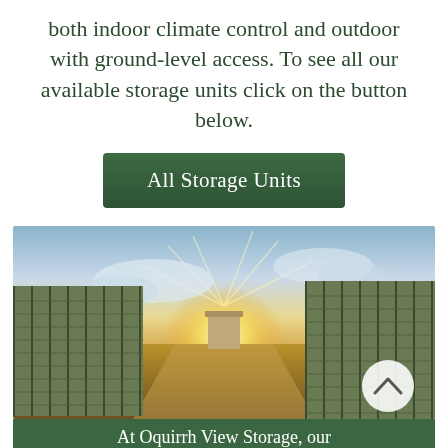both indoor climate control and outdoor with ground-level access. To see all our available storage units click on the button below.
[Figure (other): Green button labeled 'All Storage Units']
[Figure (photo): Outdoor self-storage facility with rows of green roll-up doors on both sides of a wide driveway, golden sunset sky in the background. A circular white scroll-up button is overlaid in the bottom-right corner.]
At Oquirrh View Storage, our